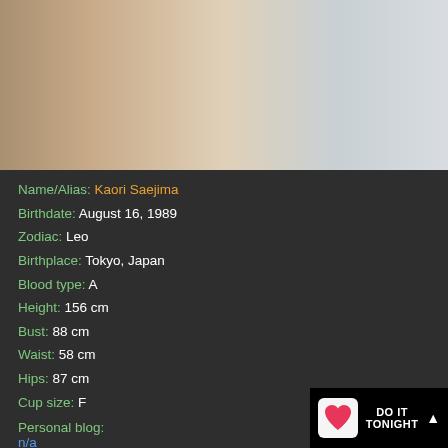[Figure (photo): Partial view of a person wearing a beige jacket and striped clothing]
Name/Alias: Kaori Saejima
Birthdate: August 16, 1989
Zodiac: Leo
Birthplace: Tokyo, Japan
Blood type: A
Height: 156 cm
Bust: 88 cm
Waist: 58 cm
Hips: 87 cm
Cup size: F
Personal blog:
n/a
Movies:
Kaori Saejima on Asia
Google:
DO IT TONIGHT